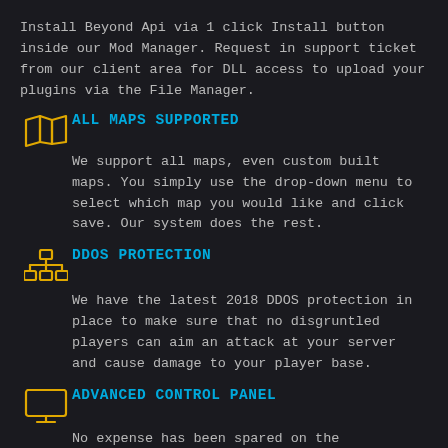Install Beyond Api via 1 click Install button inside our Mod Manager. Request in support ticket from our client area for DLL access to upload your plugins via the File Manager.
ALL MAPS SUPPORTED
We support all maps, even custom built maps. You simply use the drop-down menu to select which map you would like and click save. Our system does the rest.
DDOS PROTECTION
We have the latest 2018 DDOS protection in place to make sure that no disgruntled players can aim an attack at your server and cause damage to your player base.
ADVANCED CONTROL PANEL
No expense has been spared on the development of our control panel which is an industry leader. With full FTP, built in file manager, built in MySQL manager, easy to use configurators, PID,